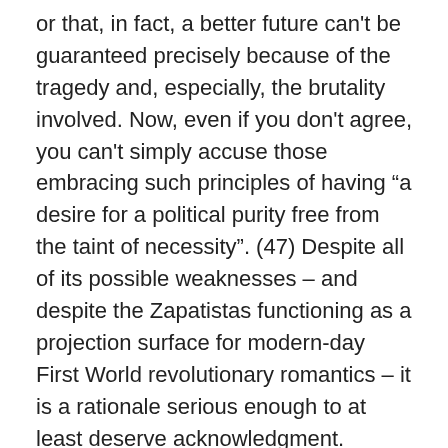or that, in fact, a better future can't be guaranteed precisely because of the tragedy and, especially, the brutality involved. Now, even if you don't agree, you can't simply accuse those embracing such principles of having “a desire for a political purity free from the taint of necessity”. (47) Despite all of its possible weaknesses – and despite the Zapatistas functioning as a projection surface for modern-day First World revolutionary romantics – it is a rationale serious enough to at least deserve acknowledgment.
But let’s return to the “revolutionary necessity” embraced by the Sendero Luminoso. According to JMP, this entails embarking on a path “where there will always be mistakes, where the problem of